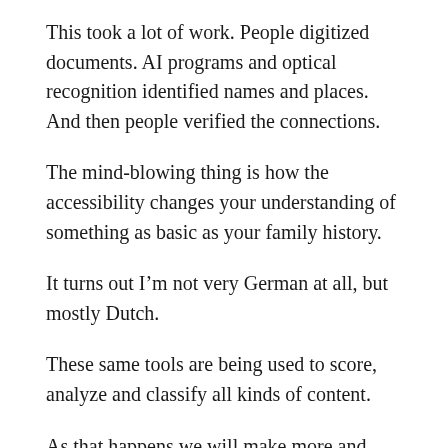This took a lot of work. People digitized documents. AI programs and optical recognition identified names and places. And then people verified the connections.
The mind-blowing thing is how the accessibility changes your understanding of something as basic as your family history.
It turns out I’m not very German at all, but mostly Dutch.
These same tools are being used to score, analyze and classify all kinds of content.
As that happens we will make more and more discoveries.